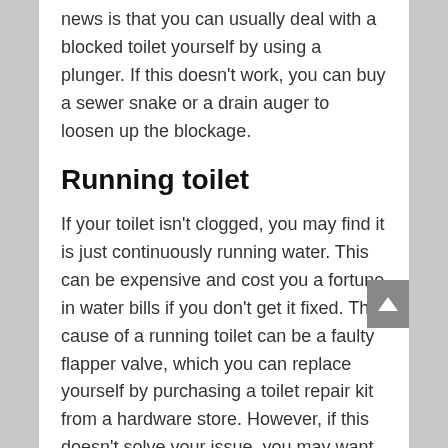news is that you can usually deal with a blocked toilet yourself by using a plunger. If this doesn't work, you can buy a sewer snake or a drain auger to loosen up the blockage.
Running toilet
If your toilet isn't clogged, you may find it is just continuously running water. This can be expensive and cost you a fortune in water bills if you don't get it fixed. The cause of a running toilet can be a faulty flapper valve, which you can replace yourself by purchasing a toilet repair kit from a hardware store. However, if this doesn't solve your issue, you may want to consult a plumber's services, as there may be sediment affecting the flushing and filling of your toilet.
Leaking pipes